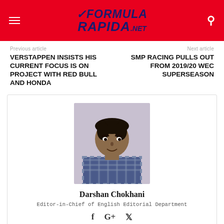Formula Rapida .net
Previous article
Next article
VERSTAPPEN INSISTS HIS CURRENT FOCUS IS ON PROJECT WITH RED BULL AND HONDA
SMP RACING PULLS OUT FROM 2019/20 WEC SUPERSEASON
[Figure (photo): Portrait photo of Darshan Chokhani, Editor-in-Chief of English Editorial Department]
Darshan Chokhani
Editor-in-Chief of English Editorial Department